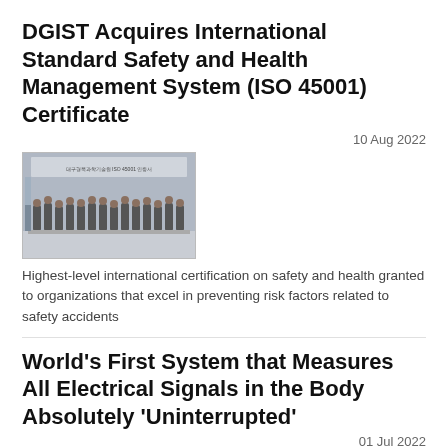DGIST Acquires International Standard Safety and Health Management System (ISO 45001) Certificate
10 Aug 2022
[Figure (photo): Group photo of people at an event with a banner in the background]
Highest-level international certification on safety and health granted to organizations that excel in preventing risk factors related to safety accidents
World's First System that Measures All Electrical Signals in the Body Absolutely 'Uninterrupted'
01 Jul 2022
[Figure (engineering-diagram): Circuit/system diagram with electronic components and signal flow]